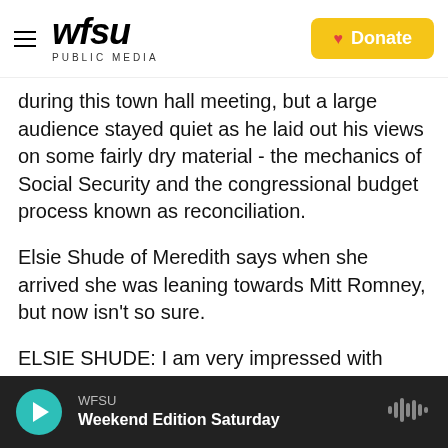WFSU PUBLIC MEDIA | Donate
during this town hall meeting, but a large audience stayed quiet as he laid out his views on some fairly dry material - the mechanics of Social Security and the congressional budget process known as reconciliation.
Elsie Shude of Meredith says when she arrived she was leaning towards Mitt Romney, but now isn't so sure.
ELSIE SHUDE: I am very impressed with Rick. I really enjoyed listening to him. So, we'll go home and talk it over and see what happens.
WFSU Weekend Edition Saturday